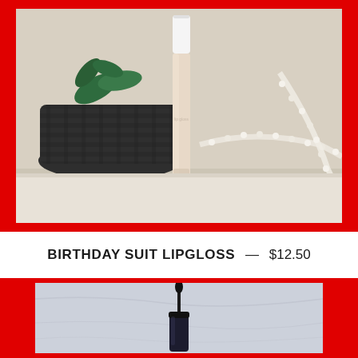[Figure (photo): A lip gloss product in a nude/beige shade standing upright, surrounded by pearl necklaces and a dark woven basket with a plant, on a white marble surface. Red border frame around the photo.]
BIRTHDAY SUIT LIPGLOSS — $12.50
[Figure (photo): A dark/black lip gloss tube with applicator wand shown against a light blue/white marbled background. Red border frame around the photo.]